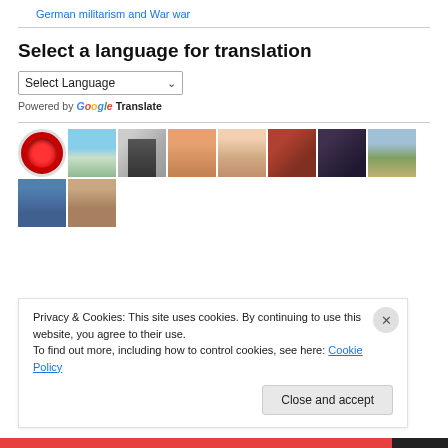German militarism and War war
Select a language for translation
Select Language
Powered by Google Translate
[Figure (photo): Grid of user profile thumbnails including a red button icon, landscape, two people, man selfie, woman, close-up face, dark abstract, hillside, man with sunglasses, and woman with pet]
Privacy & Cookies: This site uses cookies. By continuing to use this website, you agree to their use.
To find out more, including how to control cookies, see here: Cookie Policy
Close and accept